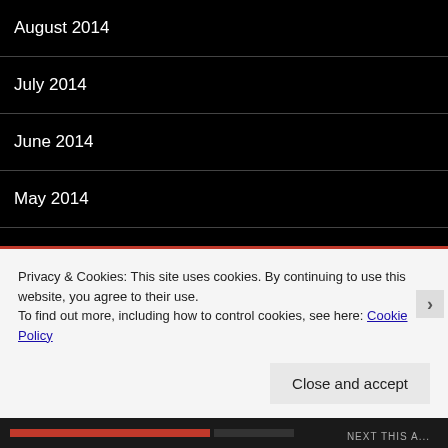August 2014
July 2014
June 2014
May 2014
April 2014
March 2014
CATEGORIES
Privacy & Cookies: This site uses cookies. By continuing to use this website, you agree to their use.
To find out more, including how to control cookies, see here: Cookie Policy
Close and accept